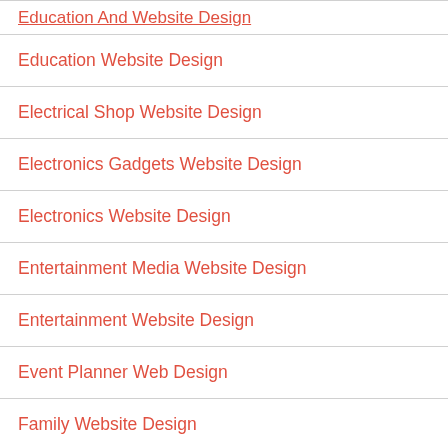Education And Website Design
Education Website Design
Electrical Shop Website Design
Electronics Gadgets Website Design
Electronics Website Design
Entertainment Media Website Design
Entertainment Website Design
Event Planner Web Design
Family Website Design
Fashion Clothing Website
Fashion Website Design
Finance Ecommerce Website Design
Finance Website Design
Fitness Website Design
Flash Website Design